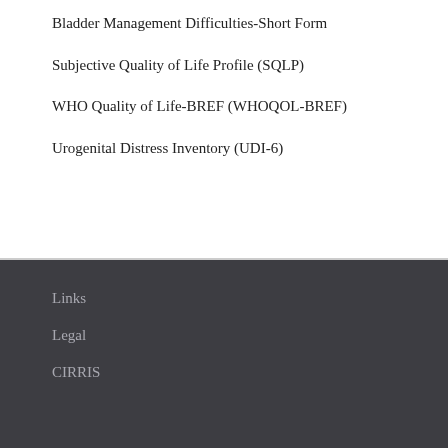Bladder Management Difficulties-Short Form
Subjective Quality of Life Profile (SQLP)
WHO Quality of Life-BREF (WHOQOL-BREF)
Urogenital Distress Inventory (UDI-6)
Links
Legal
CIRRIS